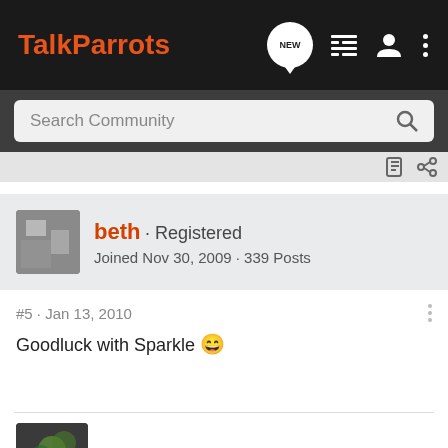TalkParrots
Search Community
beth · Registered
Joined Nov 30, 2009 · 339 Posts
#5 · Jan 13, 2010
Goodluck with Sparkle 😁
[Figure (photo): User avatar thumbnail at bottom of page]